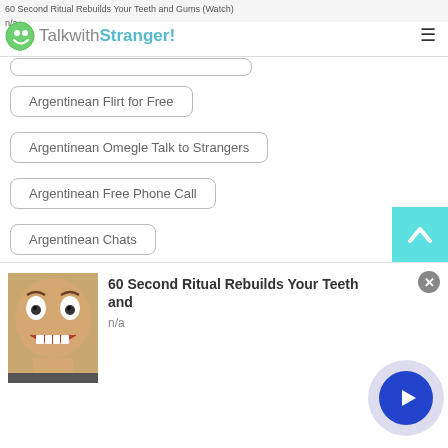60 Second Ritual Rebuilds Your Teeth and Gums (Watch)
n/a
>
TalkwithStranger!
Argentinean Flirt for Free
Argentinean Omegle Talk to Strangers
Argentinean Free Phone Call
Argentinean Chats
Argentinean Chatrandom Gay
Argentinean Online Chat
Argentinean Chat with Random People
Argentinean Online Chat Rooms
[Figure (infographic): Back to top chevron button in teal/cyan background]
[Figure (photo): Advertisement: man with open mouth showing teeth, ad text '60 Second Ritual Rebuilds Your Teeth and', sub 'n/a', close X button, circular arrow button]